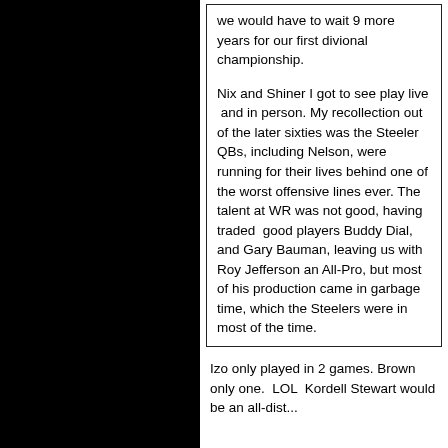we would have to wait 9 more years for our first divional championship.
Nix and Shiner I got to see play live  and in person. My recollection out of the later sixties was the Steeler QBs, including Nelson, were running for their lives behind one of the worst offensive lines ever. The talent at WR was not good, having traded  good players Buddy Dial, and Gary Bauman, leaving us with Roy Jefferson an All-Pro, but most of his production came in garbage time, which the Steelers were in most of the time.
Izo only played in 2 games. Brown only one.  LOL  Kordell Stewart would be an all-dist...